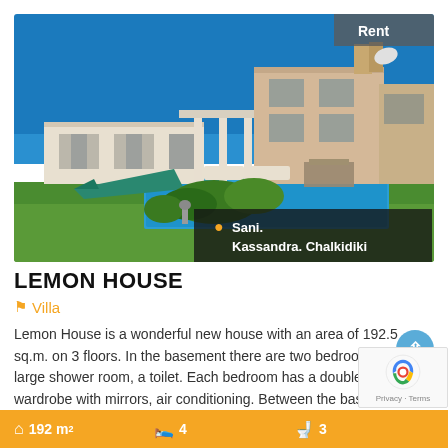[Figure (photo): Exterior photo of a luxury villa with swimming pool, terrace, and lush green garden under a blue sky. Location tag reads: Sani. Kassandra. Chalkidiki. Rent badge in top-right corner.]
LEMON HOUSE
Villa
Lemon House is a wonderful new house with an area of 192.5 sq.m. on 3 floors. In the basement there are two bedrooms, a large shower room, a toilet. Each bedroom has a double wardrobe with mirrors, air conditioning. Between the base
| Area | Bedrooms | Bathrooms |
| --- | --- | --- |
| 192 m² | 4 | 3 |